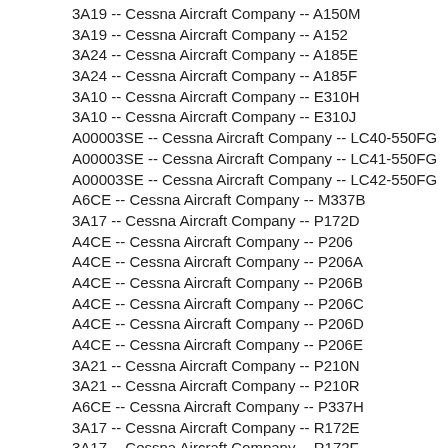3A19 -- Cessna Aircraft Company -- A150M
3A19 -- Cessna Aircraft Company -- A152
3A24 -- Cessna Aircraft Company -- A185E
3A24 -- Cessna Aircraft Company -- A185F
3A10 -- Cessna Aircraft Company -- E310H
3A10 -- Cessna Aircraft Company -- E310J
A00003SE -- Cessna Aircraft Company -- LC40-550FG
A00003SE -- Cessna Aircraft Company -- LC41-550FG
A00003SE -- Cessna Aircraft Company -- LC42-550FG
A6CE -- Cessna Aircraft Company -- M337B
3A17 -- Cessna Aircraft Company -- P172D
A4CE -- Cessna Aircraft Company -- P206
A4CE -- Cessna Aircraft Company -- P206A
A4CE -- Cessna Aircraft Company -- P206B
A4CE -- Cessna Aircraft Company -- P206C
A4CE -- Cessna Aircraft Company -- P206D
A4CE -- Cessna Aircraft Company -- P206E
3A21 -- Cessna Aircraft Company -- P210N
3A21 -- Cessna Aircraft Company -- P210R
A6CE -- Cessna Aircraft Company -- P337H
3A17 -- Cessna Aircraft Company -- R172E
3A17 -- Cessna Aircraft Company -- R172F
3A17 -- Cessna Aircraft Company -- R172G
3A17 -- Cessna Aircraft Company -- R172H
3A17 -- Cessna Aircraft Company -- R172J
3A17 -- Cessna Aircraft Company -- R172K